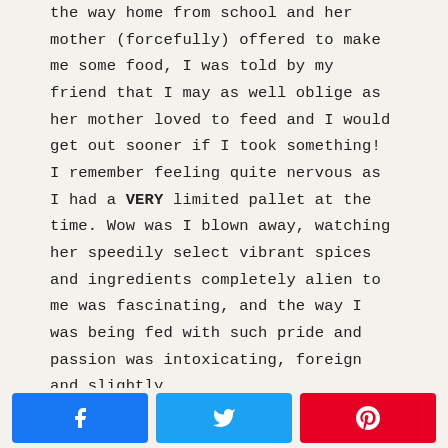the way home from school and her mother (forcefully) offered to make me some food, I was told by my friend that I may as well oblige as her mother loved to feed and I would get out sooner if I took something! I remember feeling quite nervous as I had a VERY limited pallet at the time. Wow was I blown away, watching her speedily select vibrant spices and ingredients completely alien to me was fascinating, and the way I was being fed with such pride and passion was intoxicating, foreign and slightly